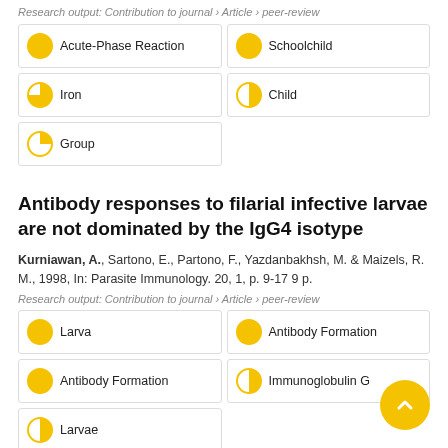Research output: Contribution to journal › Article › peer-review
Acute-Phase Reaction
Schoolchild
Iron
Child
Group
Antibody responses to filarial infective larvae are not dominated by the IgG4 isotype
Kurniawan, A., Sartono, E., Partono, F., Yazdanbakhsh, M. & Maizels, R. M., 1998, In: Parasite Immunology. 20, 1, p. 9-17 9 p.
Research output: Contribution to journal › Article › peer-review
Larva
Antibody Formation
Antibody Formation
Immunoglobulin G
Larvae